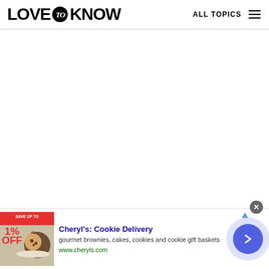LOVE to KNOW — ALL TOPICS
[Figure (screenshot): Large blank white content area below the header]
[Figure (screenshot): Advertisement banner at the bottom: Cheryl's Cookie Delivery — gourmet brownies, cakes, cookies and cookie gift baskets — www.cheryls.com, with a cookie/brownie image on the left and a blue arrow button on the right]